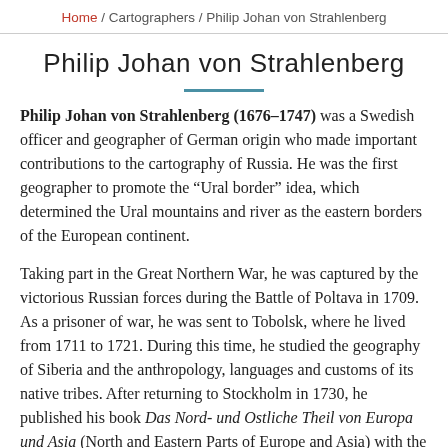Home / Cartographers / Philip Johan von Strahlenberg
Philip Johan von Strahlenberg
Philip Johan von Strahlenberg (1676–1747) was a Swedish officer and geographer of German origin who made important contributions to the cartography of Russia. He was the first geographer to promote the “Ural border” idea, which determined the Ural mountains and river as the eastern borders of the European continent.
Taking part in the Great Northern War, he was captured by the victorious Russian forces during the Battle of Poltava in 1709. As a prisoner of war, he was sent to Tobolsk, where he lived from 1711 to 1721. During this time, he studied the geography of Siberia and the anthropology, languages and customs of its native tribes. After returning to Stockholm in 1730, he published his book Das Nord- und Ostliche Theil von Europa und Asia (North and Eastern Parts of Europe and Asia) with the results of his studies. The book was well received and soon